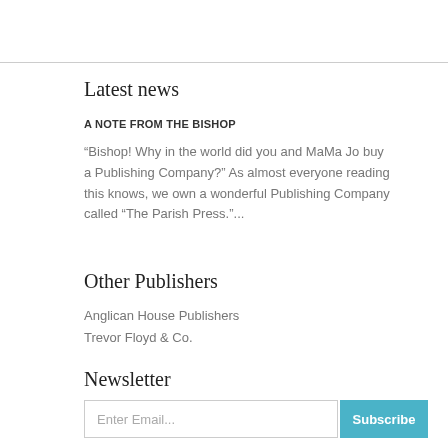Latest news
A NOTE FROM THE BISHOP
“Bishop! Why in the world did you and MaMa Jo buy a Publishing Company?” As almost everyone reading this knows, we own a wonderful Publishing Company called “The Parish Press.”...
Other Publishers
Anglican House Publishers
Trevor Floyd & Co.
Newsletter